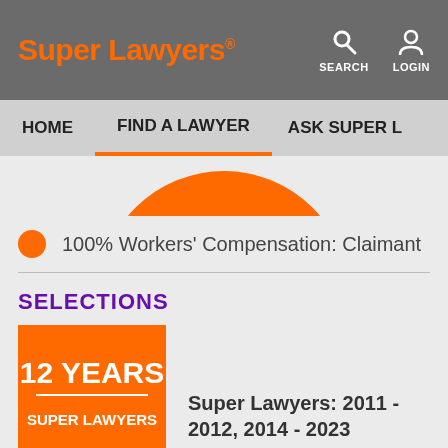Super Lawyers® | SEARCH | LOGIN
HOME | FIND A LAWYER | ASK SUPER L...
[Figure (other): Partial orange donut/pie chart at top of content area]
100% Workers' Compensation: Claimant
SELECTIONS
[Figure (other): Orange banner badge reading 12 YEARS SUPER LAWYERS]
Super Lawyers: 2011 - 2012, 2014 - 2023
Additional Sources of Information About Marvin L. Price